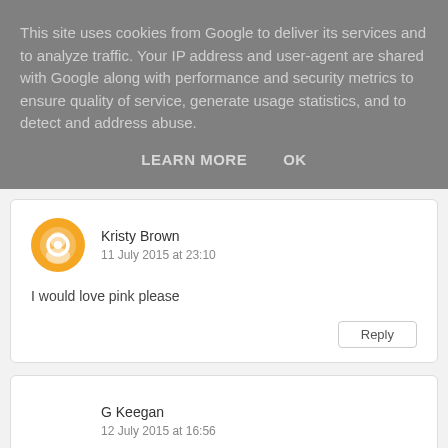This site uses cookies from Google to deliver its services and to analyze traffic. Your IP address and user-agent are shared with Google along with performance and security metrics to ensure quality of service, generate usage statistics, and to detect and address abuse.
LEARN MORE   OK
Kristy Brown
11 July 2015 at 23:10
I would love pink please
Reply
G Keegan
12 July 2015 at 16:56